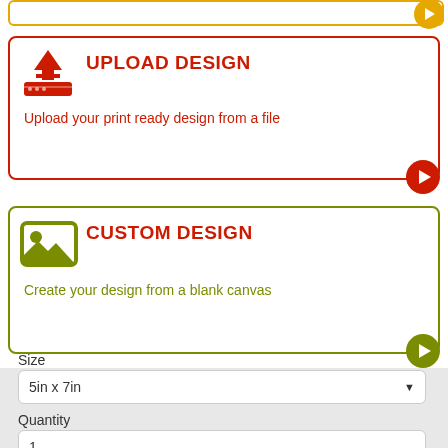[Figure (screenshot): Top bar with yellow/gold border and arrow button on right]
[Figure (infographic): Upload Design card with red border, upload icon, title UPLOAD DESIGN, description text, and red arrow button]
UPLOAD DESIGN
Upload your print ready design from a file
[Figure (infographic): Custom Design card with olive/green border, image icon, title CUSTOM DESIGN, description text, and green arrow button]
CUSTOM DESIGN
Create your design from a blank canvas
Price Calculator
Size
5in x 7in
Quantity
1